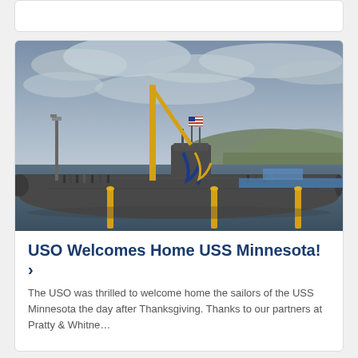[Figure (photo): A submarine (USS Minnesota) docked at a naval facility. A yellow crane is positioned over the submarine's sail, which has an American flag. Blue and gold ribbons drape the sail. People stand on the dock and on top of the submarine. Yellow bollards are visible on the dock. Trees and a hillside are visible in the background under a cloudy gray sky.]
USO Welcomes Home USS Minnesota! ›
The USO was thrilled to welcome home the sailors of the USS Minnesota the day after Thanksgiving. Thanks to our partners at Pratty & Whitne…